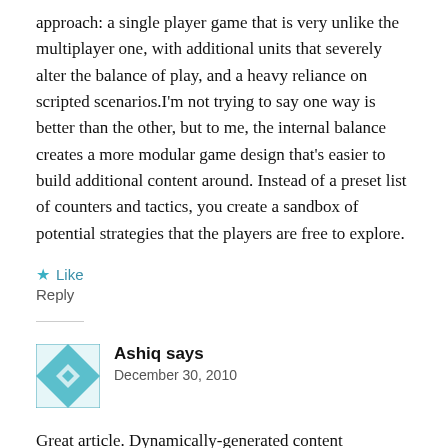approach: a single player game that is very unlike the multiplayer one, with additional units that severely alter the balance of play, and a heavy reliance on scripted scenarios.I'm not trying to say one way is better than the other, but to me, the internal balance creates a more modular game design that's easier to build additional content around. Instead of a preset list of counters and tactics, you create a sandbox of potential strategies that the players are free to explore.
★ Like
Reply
[Figure (illustration): Teal and white geometric quilt-pattern avatar icon for user Ashiq]
Ashiq says
December 30, 2010
Great article. Dynamically-generated content definitely has the benefits you've outlined here — infinite variation, and easier ability to change game